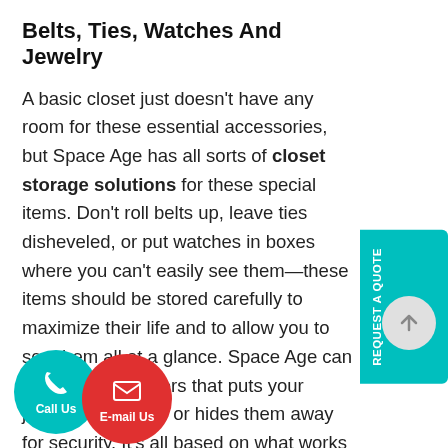Belts, Ties, Watches And Jewelry
A basic closet just doesn't have any room for these essential accessories, but Space Age has all sorts of closet storage solutions for these special items. Don't roll belts up, leave ties disheveled, or put watches in boxes where you can't easily see them—these items should be stored carefully to maximize their life and to allow you to see them all at a glance. Space Age can also design drawers that puts your jewelry on display or hides them away for security. It's all based on what works best for you.
Mirrors And Laundry Hampers
[Figure (other): Teal REQUEST A QUOTE sidebar button on right edge]
[Figure (other): Gray circular scroll-to-top arrow button]
[Figure (other): Teal circular Call Us button with phone icon]
[Figure (other): Red circular E-mail Us button with envelope icon]